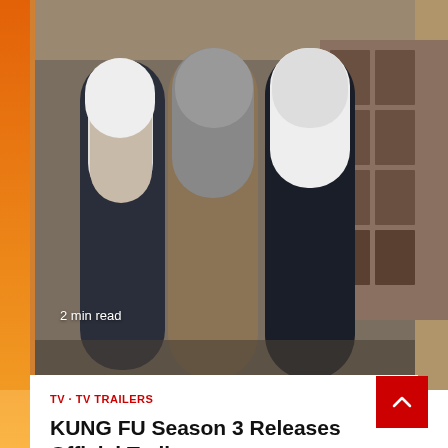[Figure (photo): Three people standing outdoors on what appears to be a film set, three-quarter body shot. A badge overlay reads '2 min read'.]
2 min read
TV · TV TRAILERS
KUNG FU Season 3 Releases Official Trailer
Darryl Ley   1 week ago
[Figure (photo): A woman with long dark hair looking intensely at the camera against a stylized background, appears to be a promotional still.]